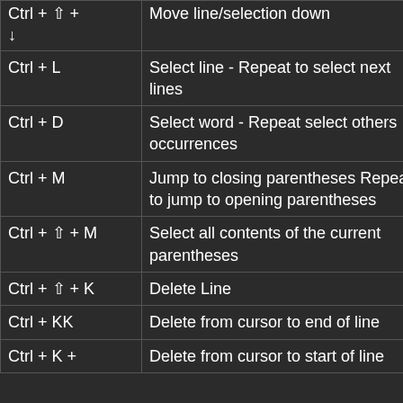| Shortcut | Action |
| --- | --- |
| Ctrl + ⇧ + ↓ | Move line/selection down |
| Ctrl + L | Select line - Repeat to select next lines |
| Ctrl + D | Select word - Repeat select others occurrences |
| Ctrl + M | Jump to closing parentheses Repeat to jump to opening parentheses |
| Ctrl + ⇧ + M | Select all contents of the current parentheses |
| Ctrl + ⇧ + K | Delete Line |
| Ctrl + KK | Delete from cursor to end of line |
| Ctrl + K + | Delete from cursor to start of line |